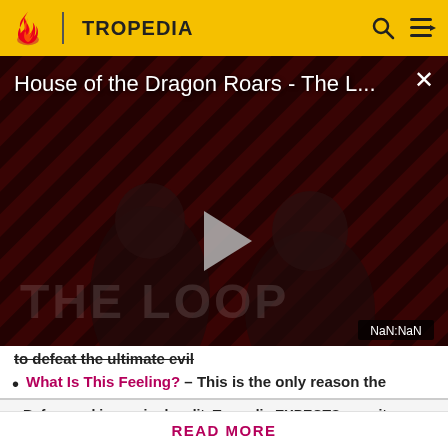TROPEDIA
[Figure (screenshot): Video player thumbnail showing 'House of the Dragon Roars - The L...' with a play button in the center, diagonal stripe pattern background, two figures visible, 'THE LOOP' text overlay, and NaN:NaN time indicator]
to defeat the ultimate evil
What Is This Feeling? - This is the only reason the
Before making a single edit, Tropedia EXPECTS our site policy and manual of style to be followed. Failure to do so may
READ MORE